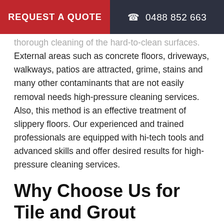REQUEST A QUOTE   ☎ 0488 852 663
thorough cleaning of the hard-to-clean surfaces. External areas such as concrete floors, driveways, walkways, patios are attracted, grime, stains and many other contaminants that are not easily removal needs high-pressure cleaning services. Also, this method is an effective treatment of slippery floors. Our experienced and trained professionals are equipped with hi-tech tools and advanced skills and offer desired results for high-pressure cleaning services.
Why Choose Us for Tile and Grout Cleaning Turrella?
With hundreds of companies offering similar services, why would you choose us? Simply because we at Magic